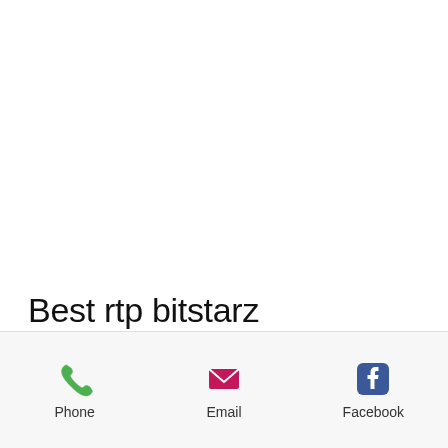Best rtp bitstarz
[Figure (infographic): Bottom action bar with three icons: Phone (green phone icon), Email (magenta envelope icon), Facebook (blue Facebook logo icon), each with a label below.]